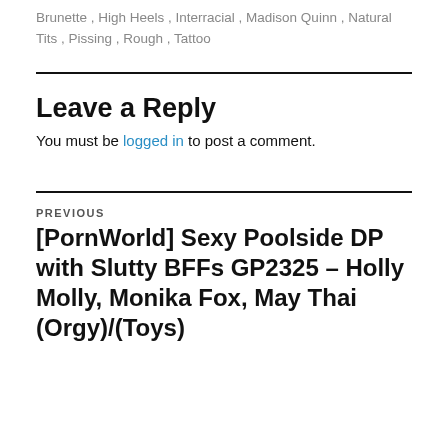Brunette , High Heels , Interracial , Madison Quinn , Natural Tits , Pissing , Rough , Tattoo
Leave a Reply
You must be logged in to post a comment.
PREVIOUS
[PornWorld] Sexy Poolside DP with Slutty BFFs GP2325 – Holly Molly, Monika Fox, May Thai (Orgy)/(Toys)